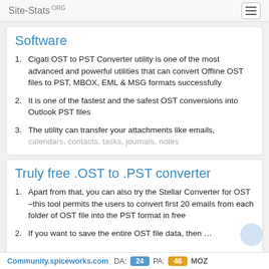Site-Stats.ORG
Software
Cigati OST to PST Converter utility is one of the most advanced and powerful utilities that can convert Offline OST files to PST, MBOX, EML & MSG formats successfully
It is one of the fastest and the safest OST conversions into Outlook PST files
The utility can transfer your attachments like emails, calendars, contacts, tasks, journals, notes
Truly free .OST to .PST converter
Apart from that, you can also try the Stellar Converter for OST –this tool permits the users to convert first 20 emails from each folder of OST file into the PST format in free
If you want to save the entire OST file data, then …
Community.spiceworks.com  DA: 24  PA: 46  MOZ